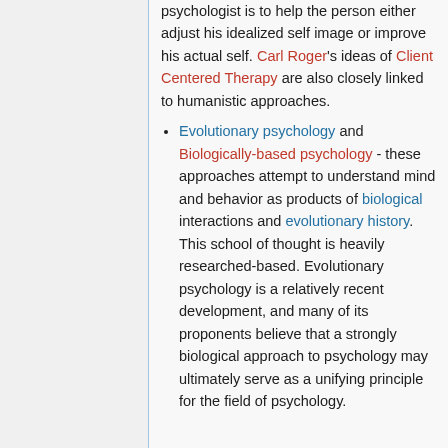psychologist is to help the person either adjust his idealized self image or improve his actual self. Carl Roger's ideas of Client Centered Therapy are also closely linked to humanistic approaches.
Evolutionary psychology and Biologically-based psychology - these approaches attempt to understand mind and behavior as products of biological interactions and evolutionary history. This school of thought is heavily researched-based. Evolutionary psychology is a relatively recent development, and many of its proponents believe that a strongly biological approach to psychology may ultimately serve as a unifying principle for the field of psychology.